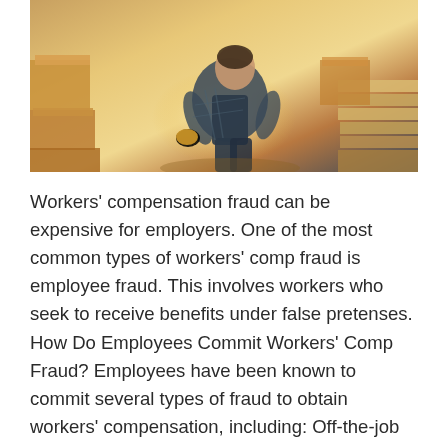[Figure (photo): A worker in a plaid shirt and overalls crouching or bending over in a warehouse or workshop setting, surrounded by stacked cardboard boxes and wooden planks. The scene is warmly lit.]
Workers' compensation fraud can be expensive for employers. One of the most common types of workers' comp fraud is employee fraud. This involves workers who seek to receive benefits under false pretenses.  How Do Employees Commit Workers' Comp Fraud? Employees have been known to commit several types of fraud to obtain workers' compensation, including: Off-the-job injury: An employee is injured on his own time, but…